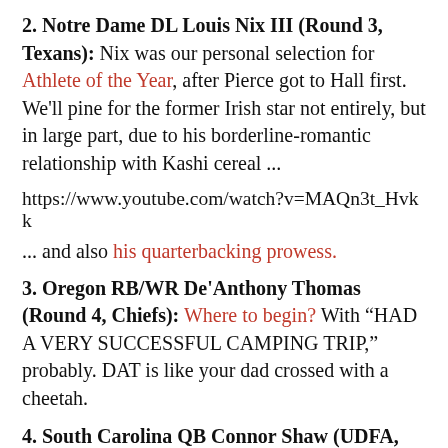2. Notre Dame DL Louis Nix III (Round 3, Texans): Nix was our personal selection for Athlete of the Year, after Pierce got to Hall first. We'll pine for the former Irish star not entirely, but in large part, due to his borderline-romantic relationship with Kashi cereal ...
https://www.youtube.com/watch?v=MAQn3t_Hvkk
... and also his quarterbacking prowess.
3. Oregon RB/WR De'Anthony Thomas (Round 4, Chiefs): Where to begin? With "HAD A VERY SUCCESSFUL CAMPING TRIP," probably. DAT is like your dad crossed with a cheetah.
4. South Carolina QB Connor Shaw (UDFA, Browns): As near as the most knowledgeable scholars on the subject can determine, Shaw leaves Steve Spurrier's care as the